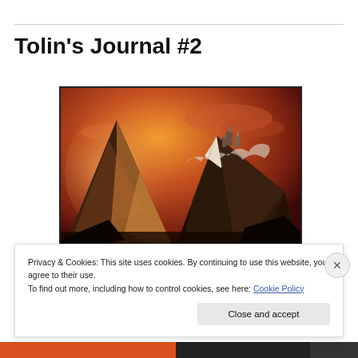Tolin's Journal #2
[Figure (illustration): Fantasy illustration of dramatic mountain peaks under an orange and red sky, with snow-capped mountains and a castle or tower structure visible on the right peak.]
Privacy & Cookies: This site uses cookies. By continuing to use this website, you agree to their use.
To find out more, including how to control cookies, see here: Cookie Policy
Close and accept